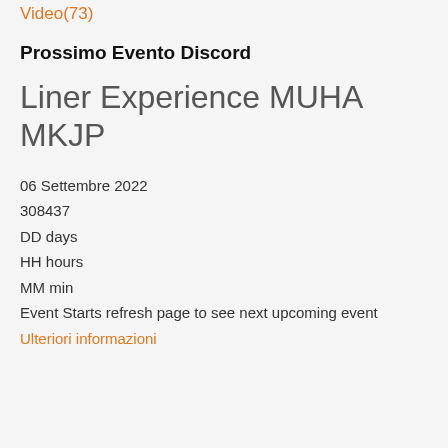Video(73)
Prossimo Evento Discord
Liner Experience MUHA MKJP
06 Settembre 2022
308437
DD days
HH hours
MM min
Event Starts refresh page to see next upcoming event
Ulteriori informazioni